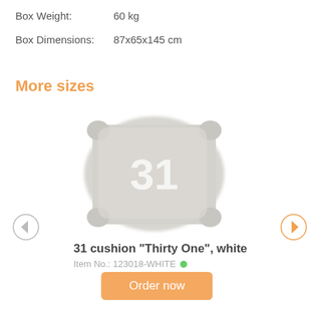Box Weight: 60 kg
Box Dimensions: 87x65x145 cm
More sizes
[Figure (photo): White cushion with '31' text printed on it]
31 cushion "Thirty One", white
Item No.: 123018-WHITE
Order now